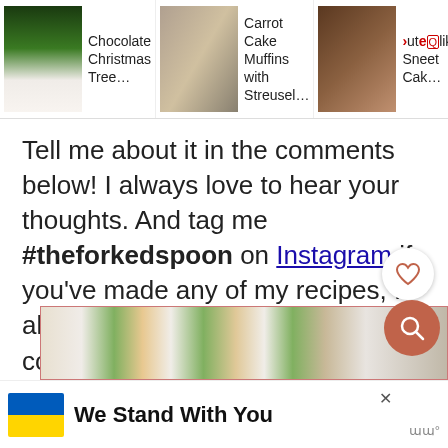[Figure (screenshot): Navigation bar with three recipe thumbnails: Chocolate Christmas Tree..., Carrot Cake Muffins with Streusel..., Dark Coco... Sheet Cak...]
Tell me about it in the comments below! I always love to hear your thoughts. And tag me #theforkedspoon on Instagram if you've made any of my recipes, I always love to see what you're cooking in the kitchen.
[Figure (photo): Partial food photo showing decorated cake slices with white frosting and carrot decorations]
[Figure (screenshot): Ad banner: We Stand With You with Ukrainian flag colors, close button and logo]